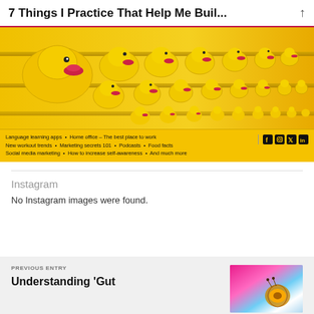7 Things I Practice That Help Me Buil...
[Figure (photo): Yellow rubber ducks arranged in rows on shelves, one duck with red lips/lipstick prominent in the upper left]
Language learning apps • Home office – The best place to work
New workout trends • Marketing secrets 101 • Podcasts • Food facts
Social media marketing • How to increase self-awareness • And much more
Instagram
No Instagram images were found.
PREVIOUS ENTRY
Understanding 'Gut